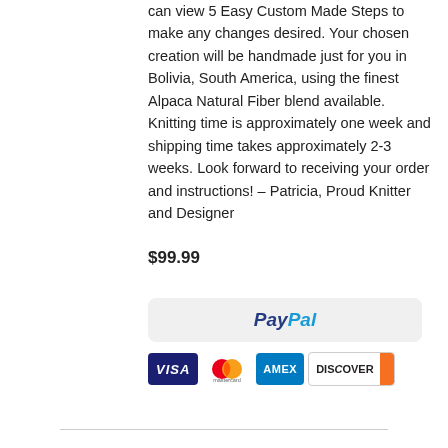can view 5 Easy Custom Made Steps to make any changes desired. Your chosen creation will be handmade just for you in Bolivia, South America, using the finest Alpaca Natural Fiber blend available. Knitting time is approximately one week and shipping time takes approximately 2-3 weeks. Look forward to receiving your order and instructions! – Patricia, Proud Knitter and Designer
$99.99
[Figure (other): PayPal payment button with credit card logos (VISA, Mastercard, AMEX, DISCOVER)]